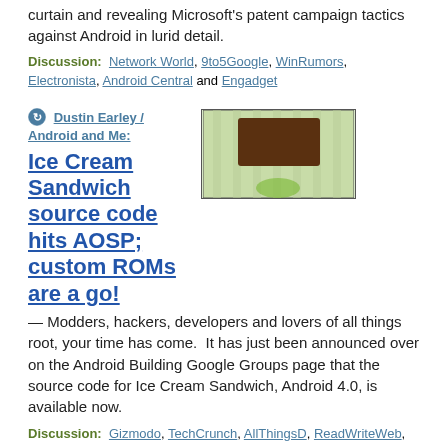curtain and revealing Microsoft's patent campaign tactics against Android in lurid detail.
Discussion:  Network World, 9to5Google, WinRumors, Electronista, Android Central and Engadget
Dustin Earley / Android and Me:
[Figure (photo): Thumbnail image of Android with Ice Cream Sandwich brown/tan square on green Android logo background]
Ice Cream Sandwich source code hits AOSP; custom ROMs are a go!
— Modders, hackers, developers and lovers of all things root, your time has come.  It has just been announced over on the Android Building Google Groups page that the source code for Ice Cream Sandwich, Android 4.0, is available now.
Discussion:  Gizmodo, TechCrunch, AllThingsD, ReadWriteWeb, @androiddev, The Verge, Examiner and CNET News, Thanks: du57in
Liam Spradlin / Android Police: